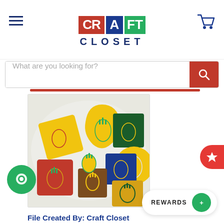[Figure (logo): Craft Closet logo with colorful blocks spelling CRAFT above the word CLOSET in dark blue]
[Figure (screenshot): Website screenshot showing Craft Closet e-commerce page with search bar, product image of pineapple-themed resin crafts, rewards widget]
What are you looking for?
[Figure (photo): Photo of multiple colorful resin pieces in various shapes (square, circle, teardrop) with pineapple designs in yellow, green, red, blue, brown, and gold colors]
File Created By: Craft Closet